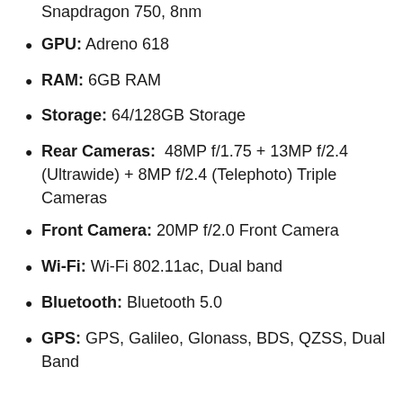Snapdragon 750, 8nm
GPU: Adreno 618
RAM: 6GB RAM
Storage: 64/128GB Storage
Rear Cameras: 48MP f/1.75 + 13MP f/2.4 (Ultrawide) + 8MP f/2.4 (Telephoto) Triple Cameras
Front Camera: 20MP f/2.0 Front Camera
Wi-Fi: Wi-Fi 802.11ac, Dual band
Bluetooth: Bluetooth 5.0
GPS: GPS, Galileo, Glonass, BDS, QZSS, Dual Band